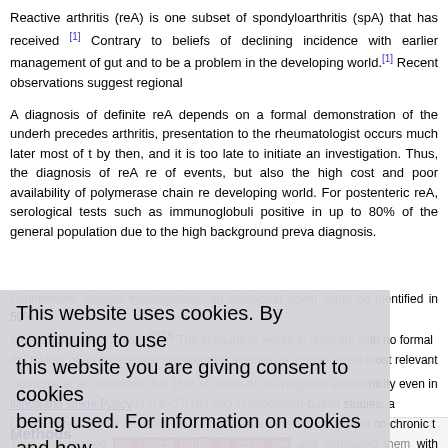Reactive arthritis (reA) is one subset of spondyloarthritis (spA) that has received [1] Contrary to beliefs of declining incidence with earlier management of gut and to be a problem in the developing world.[1] Recent observations suggest regional
A diagnosis of definite reA depends on a formal demonstration of the underlying precedes arthritis, presentation to the rheumatologist occurs much later most of t by then, and it is too late to initiate an investigation. Thus, the diagnosis of reA re of events, but also the high cost and poor availability of polymerase chain re developing world. For postenteric reA, serological tests such as immunoglobuli positive in up to 80% of the general population due to the high background preva diagnosis.
Furthermore, despite investigations, an etiological agent could be identified in 50% source epidemic situation.[2],[3] The scenario is worse in children, with no formal the history of an antecedent symptomatic infection is thought to be most relevant
Gourcoor et al. described that 15% of cases of reA progress to chronicity even in Illincwand sinkle Policy of 0.6–27/100,000 in population-based studies, a Unfortunately, global research on the disease is in decline, and data on chronic t Thus, we studied the clinical profile in acute reA and compared them with chronic
This website uses cookies. By continuing to use this website you are giving consent to cookies being used. For information on cookies and how you can disable them visit our Privacy and Cookie Policy. AGREE & PROCEED
Methods